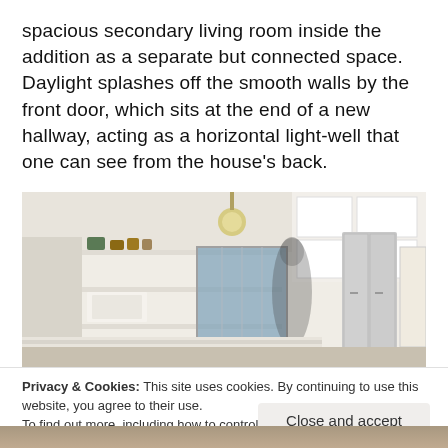spacious secondary living room inside the addition as a separate but connected space. Daylight splashes off the smooth walls by the front door, which sits at the end of a new hallway, acting as a horizontal light-well that one can see from the house's back.
[Figure (photo): Interior photo of a modern kitchen with white cabinets, open shelving with decorative items, a pendant light, a blue-tinted window, a stainless steel refrigerator, and a person walking through the space in motion blur.]
Privacy & Cookies: This site uses cookies. By continuing to use this website, you agree to their use.
To find out more, including how to control cookies, see here: Cookie Policy
Close and accept